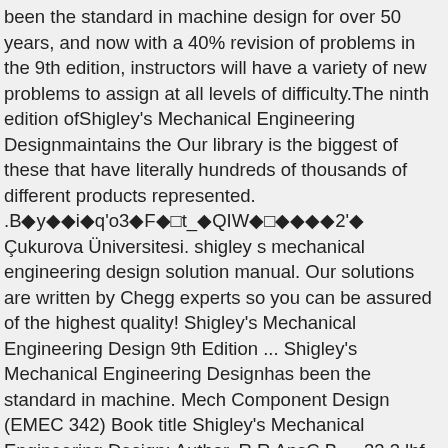been the standard in machine design for over 50 years, and now with a 40% revision of problems in the 9th edition, instructors will have a variety of new problems to assign at all levels of difficulty.The ninth edition ofShigley's Mechanical Engineering Designmaintains the Our library is the biggest of these that have literally hundreds of thousands of different products represented. .B◆y◆◆i◆q'o3◆F◆□t_◆QIW◆□◆◆◆◆2'◆ Çukurova Üniversitesi. shigley s mechanical engineering design solution manual. Our solutions are written by Chegg experts so you can be assured of the highest quality! Shigley's Mechanical Engineering Design 9th Edition ... Shigley's Mechanical Engineering Designhas been the standard in machine. Mech Component Design (EMEC 342) Book title Shigley's Mechanical Engineering Design; Author. R R AnsC B= =33.3 lbf . Shigley's Mechanical Engineering Design is intended for students beginning the study of mechanical engineering design. Course. University. 10. Get PDF. We have made it easy for you to find a PDF Ebooks without any digging. Just select your click then download button, and complete an offer to